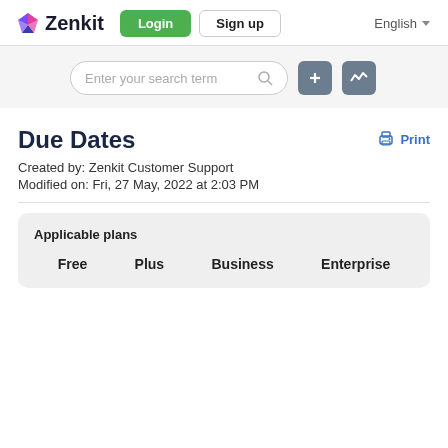Zenkit | Login | Sign up | English
[Figure (screenshot): Search input field with placeholder 'Enter your search term', plus and activity icon buttons]
Due Dates
Created by: Zenkit Customer Support
Modified on: Fri, 27 May, 2022 at 2:03 PM
| Free | Plus | Business | Enterprise |
| --- | --- | --- | --- |